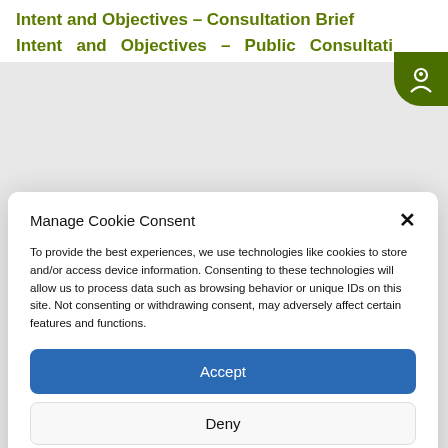Intent and Objectives – Consultation Brief
Intent and Objectives – Public Consultati…
Manage Cookie Consent
To provide the best experiences, we use technologies like cookies to store and/or access device information. Consenting to these technologies will allow us to process data such as browsing behavior or unique IDs on this site. Not consenting or withdrawing consent, may adversely affect certain features and functions.
Accept
Deny
View preferences
Cookie Policy   Privacy Policy